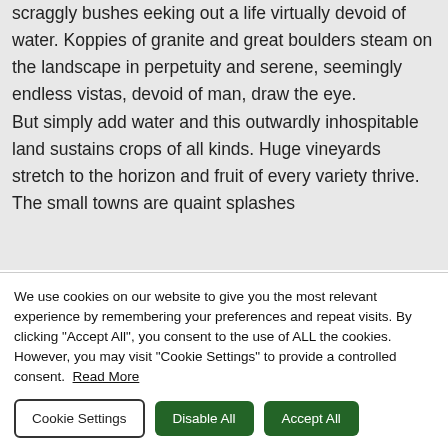scraggly bushes eeking out a life virtually devoid of water. Koppies of granite and great boulders steam on the landscape in perpetuity and serene, seemingly endless vistas, devoid of man, draw the eye.
But simply add water and this outwardly inhospitable land sustains crops of all kinds. Huge vineyards stretch to the horizon and fruit of every variety thrive. The small towns are quaint splashes
We use cookies on our website to give you the most relevant experience by remembering your preferences and repeat visits. By clicking "Accept All", you consent to the use of ALL the cookies. However, you may visit "Cookie Settings" to provide a controlled consent. Read More